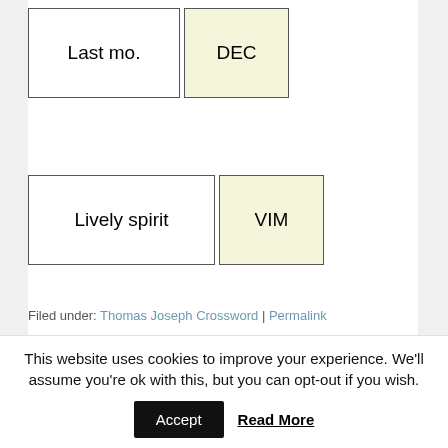| Clue | Answer |
| --- | --- |
| Last mo. | DEC |
| Clue | Answer |
| --- | --- |
| Lively spirit | VIM |
Filed under: Thomas Joseph Crossword | Permalink
« Mirror Classic Crossword June 22 2022 Answers   Regular bar hopper crossword clue »
This website uses cookies to improve your experience. We'll assume you're ok with this, but you can opt-out if you wish.